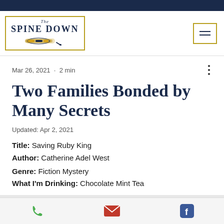The Spine Down
Mar 26, 2021 · 2 min
Two Families Bonded by Many Secrets
Updated: Apr 2, 2021
Title: Saving Ruby King
Author: Catherine Adel West
Genre: Fiction Mystery
What I'm Drinking: Chocolate Mint Tea
Phone | Email | Facebook